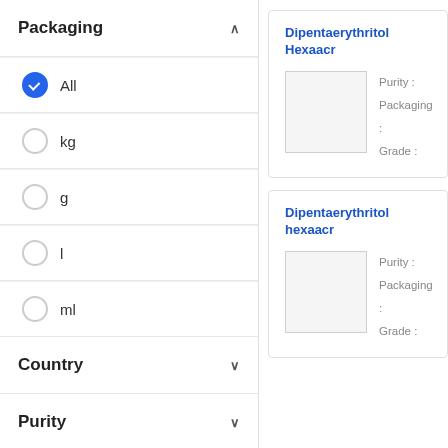Packaging
All (selected)
kg
g
l
ml
Country
Purity
Dipentaerythritol Hexaacr...
Purity : 
Packaging : 
Grade :
Dipentaerythritol hexaacr...
Purity : 
Packaging : 
Grade :